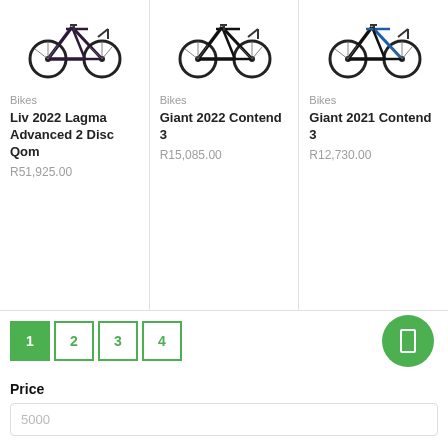[Figure (photo): Road bike product image - Liv 2022 Lagma Advanced 2 Disc Qom, dark purple/black color]
[Figure (photo): Road bike product image - Giant 2022 Contend 3, black color]
[Figure (photo): Road bike product image - Giant 2021 Contend 3, black/blue color]
Bikes
Liv 2022 Lagma Advanced 2 Disc Qom
R51,925.00
Bikes
Giant 2022 Contend 3
R15,085.00
Bikes
Giant 2021 Contend 3
R12,730.00
1
2
3
4
Price
5000